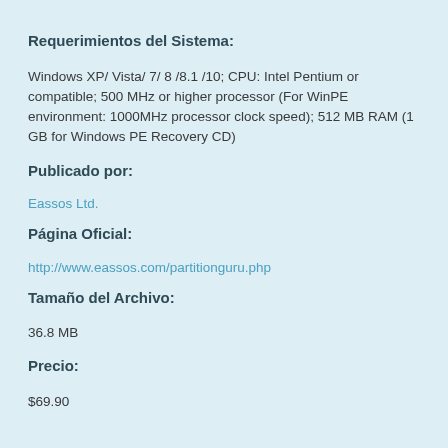Requerimientos del Sistema:
Windows XP/ Vista/ 7/ 8 /8.1 /10; CPU: Intel Pentium or compatible; 500 MHz or higher processor (For WinPE environment: 1000MHz processor clock speed); 512 MB RAM (1 GB for Windows PE Recovery CD)
Publicado por:
Eassos Ltd.
Página Oficial:
http://www.eassos.com/partitionguru.php
Tamaño del Archivo:
36.8 MB
Precio:
$69.90